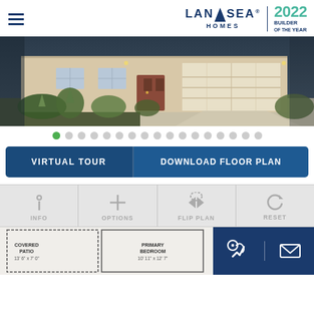Landsea Homes | 2022 Builder of the Year
[Figure (photo): Exterior photo of a modern home with tan/beige stucco facade, garage door, desert landscaping with agave plants, and evening lighting]
[Figure (infographic): Carousel navigation dots, 17 total dots with first dot highlighted in green]
[Figure (infographic): Two action buttons: VIRTUAL TOUR and DOWNLOAD FLOOR PLAN on dark blue background]
[Figure (infographic): Floor plan toolbar with four options: INFO, OPTIONS, FLIP PLAN, RESET with icons]
[Figure (engineering-diagram): Partial floor plan showing COVERED PATIO (13'6" x 7'0") and PRIMARY BEDROOM rooms]
[Figure (infographic): Contact bar with phone and email icons on dark blue background]